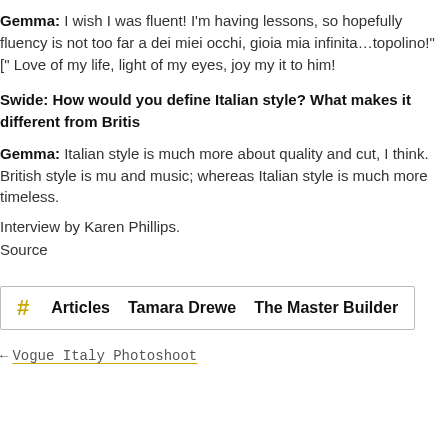Gemma: I wish I was fluent! I'm having lessons, so hopefully fluency is not too far a dei miei occhi, gioia mia infinita…topolino!" [" Love of my life, light of my eyes, joy my it to him!
Swide: How would you define Italian style? What makes it different from Britis
Gemma: Italian style is much more about quality and cut, I think. British style is mu and music; whereas Italian style is much more timeless.
Interview by Karen Phillips.
Source
# Articles   Tamara Drewe   The Master Builder
← Vogue Italy Photoshoot